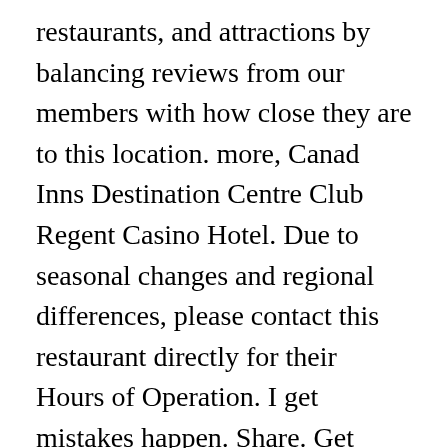restaurants, and attractions by balancing reviews from our members with how close they are to this location. more, Canad Inns Destination Centre Club Regent Casino Hotel. Due to seasonal changes and regional differences, please contact this restaurant directly for their Hours of Operation. I get mistakes happen. Share. Get Directions. 705 people like this. Claimed. Open now: 12:00 PM - 10:00 PM. 4.0 14 ... 4.6 out of 5 stars. Their salads are okay but nothing special. Ordered the all you can eat fish and chips on Tuesday. 14 reviews #1,059 of 1,193 Restaurants in Winnipeg $$ - $$$ Seafood Canadian. Joey's Restaurant on Portage and Cavalier is your West End Joey's. Two decades of serving